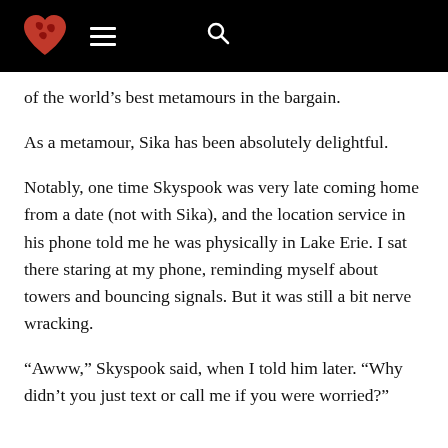[Logo: heart with world map] [hamburger menu] [search icon]
of the world’s best metamours in the bargain.
As a metamour, Sika has been absolutely delightful.
Notably, one time Skyspook was very late coming home from a date (not with Sika), and the location service in his phone told me he was physically in Lake Erie. I sat there staring at my phone, reminding myself about towers and bouncing signals. But it was still a bit nerve wracking.
“Awww,” Skyspook said, when I told him later. “Why didn’t you just text or call me if you were worried?”